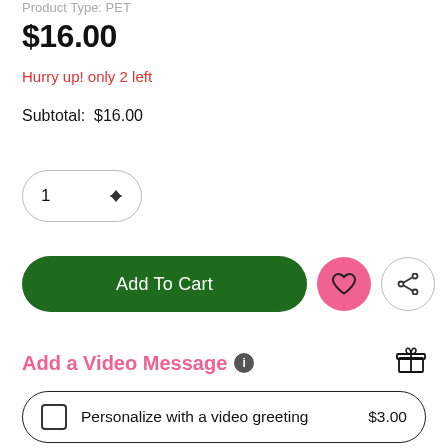Product Type: PET
$16.00
Hurry up! only 2 left
Subtotal: $16.00
[Figure (other): Quantity selector showing value 1 with up/down arrows, inside a rounded pill-shaped border]
[Figure (other): Add To Cart green pill button, pink heart circle button, and grey share circle button in a row]
Add a Video Message
Personalize with a video greeting  $3.00